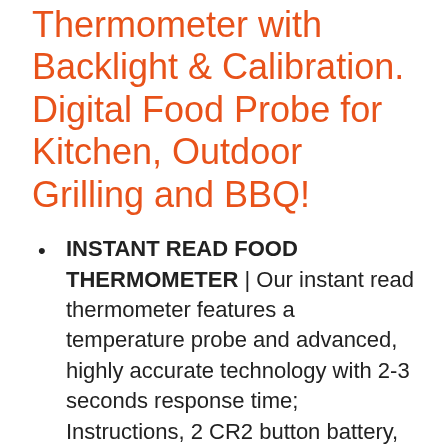Thermometer with Backlight & Calibration. Digital Food Probe for Kitchen, Outdoor Grilling and BBQ!
INSTANT READ FOOD THERMOMETER | Our instant read thermometer features a temperature probe and advanced, highly accurate technology with 2-3 seconds response time; Instructions, 2 CR2 button battery, meat temperature chart, 4 hook and